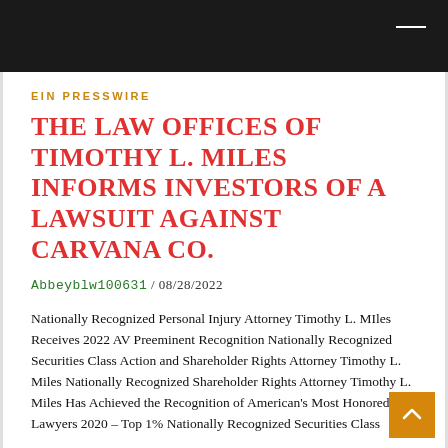EIN PRESSWIRE
THE LAW OFFICES OF TIMOTHY L. MILES INFORMS INVESTORS OF A LAWSUIT AGAINST CARVANA CO.
Abbeyblw100631 / 08/28/2022
Nationally Recognized Personal Injury Attorney Timothy L. MIles Receives 2022 AV Preeminent Recognition Nationally Recognized Securities Class Action and Shareholder Rights Attorney Timothy L. Miles Nationally Recognized Shareholder Rights Attorney Timothy L. Miles Has Achieved the Recognition of American's Most Honored Lawyers 2020 – Top 1% Nationally Recognized Securities Class